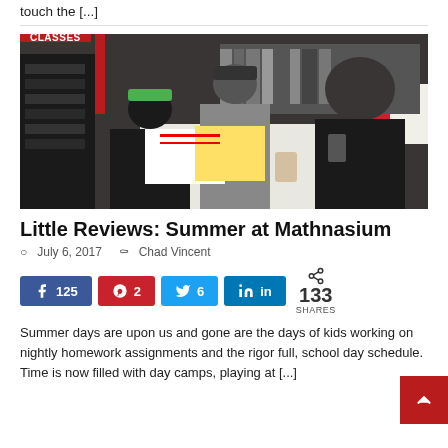touch the [...]
[Figure (photo): Two children and an adult male teacher working at a table in a classroom with red and black decor. A red badge overlay reads CLASSES.]
Little Reviews: Summer at Mathnasium
July 6, 2017   Chad Vincent
125  2  6  in  133 SHARES
Summer days are upon us and gone are the days of kids working on nightly homework assignments and the rigor full, school day schedule. Time is now filled with day camps, playing at [...]